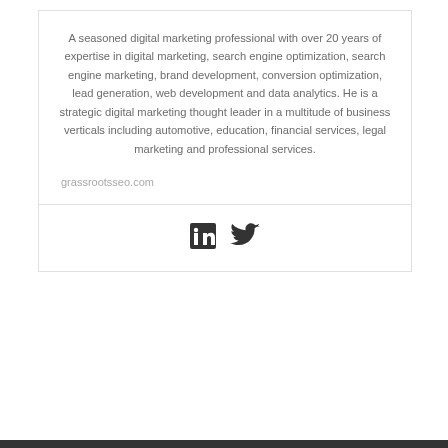A seasoned digital marketing professional with over 20 years of expertise in digital marketing, search engine optimization, search engine marketing, brand development, conversion optimization, lead generation, web development and data analytics. He is a strategic digital marketing thought leader in a multitude of business verticals including automotive, education, financial services, legal marketing and professional services.
grassrootsseo.com
[Figure (other): LinkedIn and Twitter social media icons]